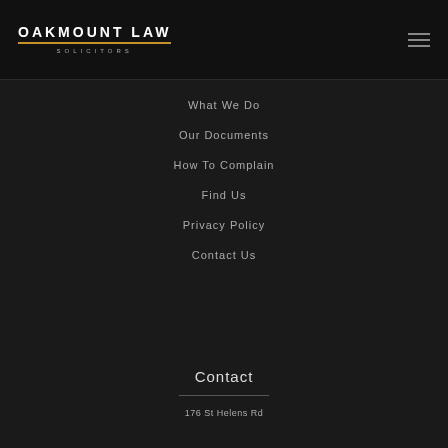OAKMOUNT LAW SOLICITORS
What We Do
Our Documents
How To Complain
Find Us
Privacy Policy
Contact Us
Contact
176 St Helens Rd